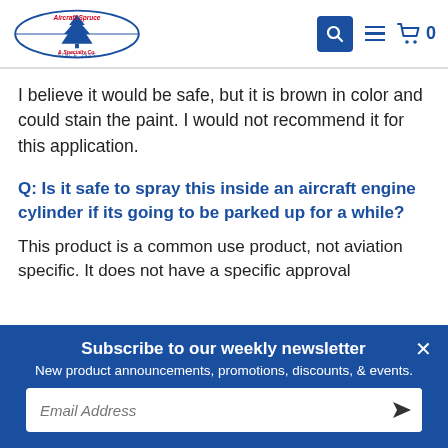Aircraft Spruce & Specialty Co. — navigation header with search, menu, and cart icons
I believe it would be safe, but it is brown in color and could stain the paint. I would not recommend it for this application.
Q: Is it safe to spray this inside an aircraft engine cylinder if its going to be parked up for a while?
This product is a common use product, not aviation specific. It does not have a specific approval
Subscribe to our weekly newsletter
New product announcements, promotions, discounts, & events.